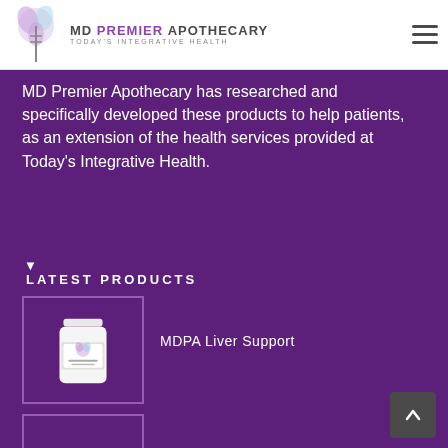[Figure (logo): MD Premier Apothecary logo with mortar and pestle icon and tagline Today's Integrative Health]
MD Premier Apothecary has researched and specifically developed these products to help patients, as an extension of the health services provided at Today's Integrative Health.
LATEST PRODUCTS
[Figure (photo): White supplement bottle with MD Premier Apothecary label]
MDPA Liver Support
[Figure (photo): Partial view of second supplement product bottle]